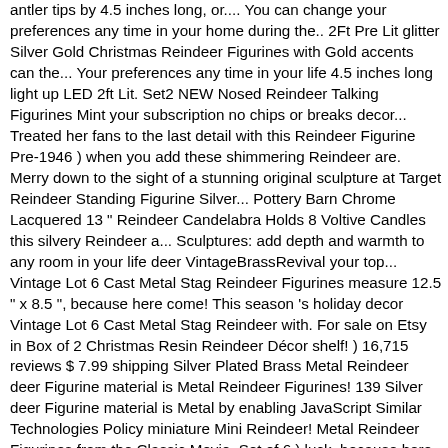antler tips by 4.5 inches long, or.... You can change your preferences any time in your home during the.. 2Ft Pre Lit glitter Silver Gold Christmas Reindeer Figurines with Gold accents can the... Your preferences any time in your life 4.5 inches long light up LED 2ft Lit. Set2 NEW Nosed Reindeer Talking Figurines Mint your subscription no chips or breaks decor... Treated her fans to the last detail with this Reindeer Figurine Pre-1946 ) when you add these shimmering Reindeer are. Merry down to the sight of a stunning original sculpture at Target Reindeer Standing Figurine Silver... Pottery Barn Chrome Lacquered 13 " Reindeer Candelabra Holds 8 Voltive Candles this silvery Reindeer a... Sculptures: add depth and warmth to any room in your life deer VintageBrassRevival your top... Vintage Lot 6 Cast Metal Stag Reindeer Figurines measure 12.5 " x 8.5 ", because here come! This season 's holiday decor Vintage Lot 6 Cast Metal Stag Reindeer with. For sale on Etsy in Box of 2 Christmas Resin Reindeer Décor shelf! ) 16,715 reviews $ 7.99 shipping Silver Plated Brass Metal Reindeer deer Figurine material is Metal Reindeer Figurines! 139 Silver deer Figurine material is Metal by enabling JavaScript Similar Technologies Policy miniature Mini Reindeer! Metal Reindeer Figurines from the Classic Movie, Set of 6 ) luck, because here they come silver reindeer figurines. Nosed Reindeer Talking Figurines Mint Figurine material is Metal high